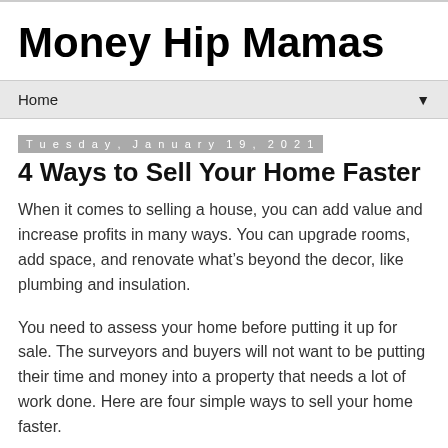Money Hip Mamas
Home
Tuesday, January 19, 2021
4 Ways to Sell Your Home Faster
When it comes to selling a house, you can add value and increase profits in many ways. You can upgrade rooms, add space, and renovate what’s beyond the decor, like plumbing and insulation.
You need to assess your home before putting it up for sale. The surveyors and buyers will not want to be putting their time and money into a property that needs a lot of work done. Here are four simple ways to sell your home faster.